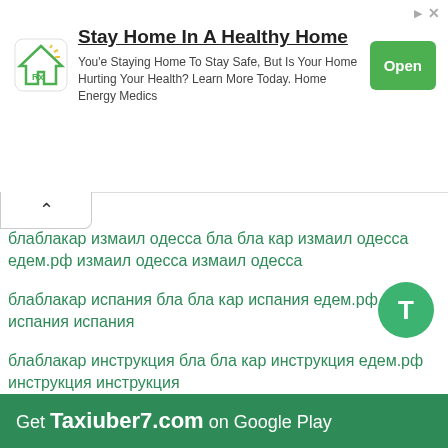[Figure (screenshot): Advertisement banner: 'Stay Home In A Healthy Home' with house icon and green Open button]
блаблакар измаил одесса бла бла кар измаил одесса едем.рф измаил одесса измаил одесса
блаблакар испания бла бла кар испания едем.рф испания испания
блаблакар инструкция бла бла кар инструкция едем.рф инструкция инструкция
блаблакар изюм харьков бла бла кар изюм харьков едем.рф изюм харьков изюм харьков
блаблакар ишим тюмень бла бла кар ишим тюмень едем.рф ишим тюмень ишим тюмень
блаблакар италия бла бла кар италия едем.рф италия италия
блаблакар йошкар ола бла бла кар йошкар ола едем.рф йошкар ола йошкар ола
[Figure (screenshot): Bottom app banner: Get Taxiuber7.com on Google Play]